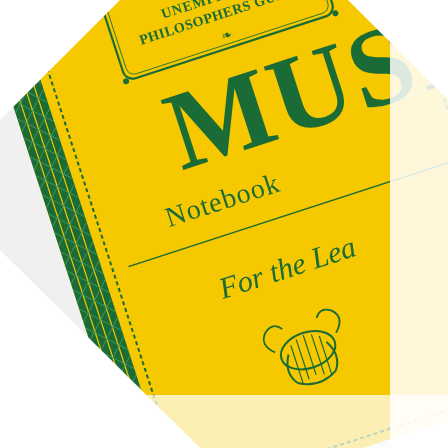[Figure (photo): A yellow notebook/music book cover from The Unemployed Philosophers Guild, photographed at an angle against a white background. The cover is bright yellow with dark green text and decorative border. It reads 'The Unemployed Philosophers Guild' in a decorative badge/label at the top, then 'MUSIC' in large bold letters, 'Notebook' below that in smaller text, a horizontal line, then 'For the Lea...' in italic script, and a decorative musical lyre ornament at the bottom. The left spine shows a green diamond-pattern decorative border.]